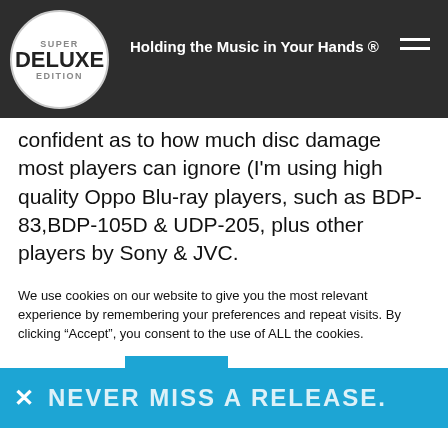Super Deluxe Edition — Holding the Music in Your Hands ®
confident as to how much disc damage most players can ignore (I'm using high quality Oppo Blu-ray players, such as BDP-83,BDP-105D & UDP-205, plus other players by Sony & JVC. I recently encountered problem with Disc damage on anoher Universal Music product, th
[Figure (infographic): Blue banner overlay with close X button and text 'NEVER MISS A RELEASE.']
We use cookies on our website to give you the most relevant experience by remembering your preferences and repeat visits. By clicking "Accept", you consent to the use of ALL the cookies.
Cookie settings   ACCEPT